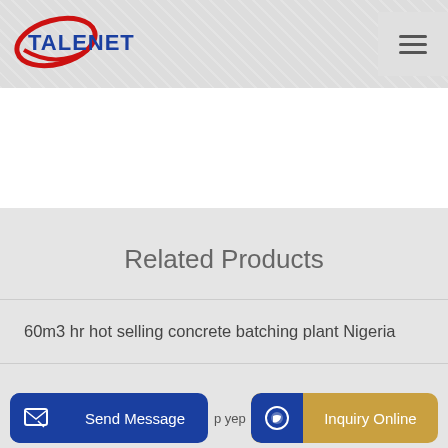[Figure (logo): TALENET company logo with red swoosh graphic and blue bold text, hamburger menu icon on the right]
Related Products
60m3 hr hot selling concrete batching plant Nigeria
1992 Mack RD690 Cement Mixer Truck IVF for GTA San
p yep
Send Message
Inquiry Online